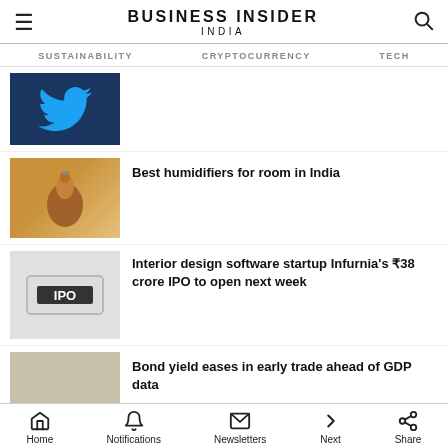BUSINESS INSIDER INDIA
SUSTAINABILITY   CRYPTOCURRENCY   TECH
[Figure (photo): Twitter logo on dark blue background (partially visible, cropped)]
[Figure (photo): Brown wooden humidifier diffuser on table]
Best humidifiers for room in India
[Figure (photo): IPO keyboard key close-up]
Interior design software startup Infurnia's ₹38 crore IPO to open next week
[Figure (photo): GDP label on financial document]
Bond yield eases in early trade ahead of GDP data
[Figure (photo): Partially visible car image]
neutral
Home   Notifications   Newsletters   Next   Share